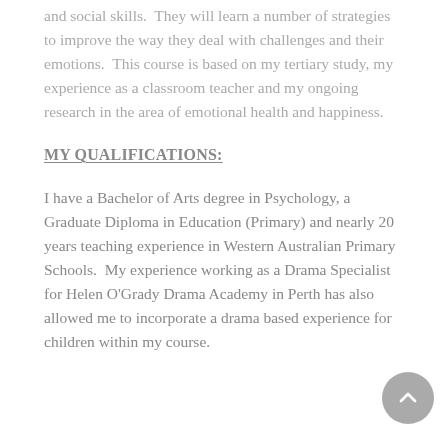and social skills.  They will learn a number of strategies to improve the way they deal with challenges and their emotions.  This course is based on my tertiary study, my experience as a classroom teacher and my ongoing research in the area of emotional health and happiness.
MY QUALIFICATIONS:
I have a Bachelor of Arts degree in Psychology, a Graduate Diploma in Education (Primary) and nearly 20 years teaching experience in Western Australian Primary Schools.  My experience working as a Drama Specialist for Helen O'Grady Drama Academy in Perth has also allowed me to incorporate a drama based experience for children within my course.